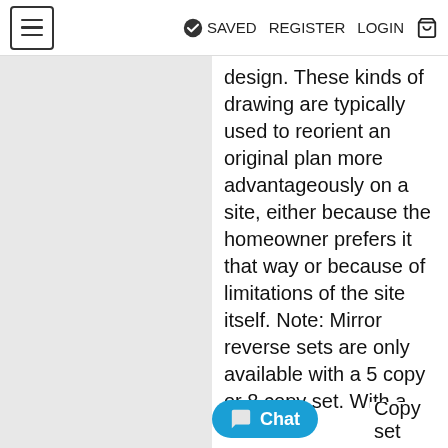≡  ✓ SAVED  REGISTER  LOGIN  🛒
design. These kinds of drawing are typically used to reorient an original plan more advantageously on a site, either because the homeowner prefers it that way or because of limitations of the site itself. Note: Mirror reverse sets are only available with a 5 copy or 8 copy set. With a Reproducible, PDF, or CAD set, you can print mirrored copies locally. Copy set